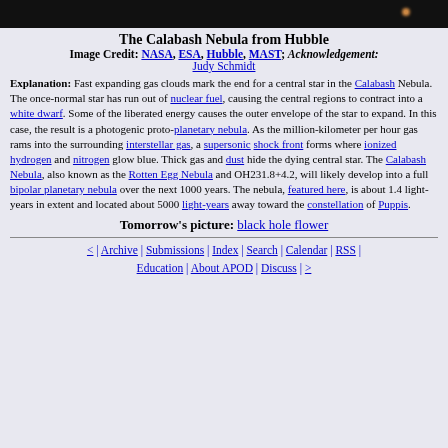[Figure (photo): Dark space image strip at top of page, showing a dark background with a faint orange/red star point on the right side]
The Calabash Nebula from Hubble
Image Credit: NASA, ESA, Hubble, MAST; Acknowledgement: Judy Schmidt
Explanation: Fast expanding gas clouds mark the end for a central star in the Calabash Nebula. The once-normal star has run out of nuclear fuel, causing the central regions to contract into a white dwarf. Some of the liberated energy causes the outer envelope of the star to expand. In this case, the result is a photogenic proto-planetary nebula. As the million-kilometer per hour gas rams into the surrounding interstellar gas, a supersonic shock front forms where ionized hydrogen and nitrogen glow blue. Thick gas and dust hide the dying central star. The Calabash Nebula, also known as the Rotten Egg Nebula and OH231.8+4.2, will likely develop into a full bipolar planetary nebula over the next 1000 years. The nebula, featured here, is about 1.4 light-years in extent and located about 5000 light-years away toward the constellation of Puppis.
Tomorrow's picture: black hole flower
< | Archive | Submissions | Index | Search | Calendar | RSS | Education | About APOD | Discuss | >